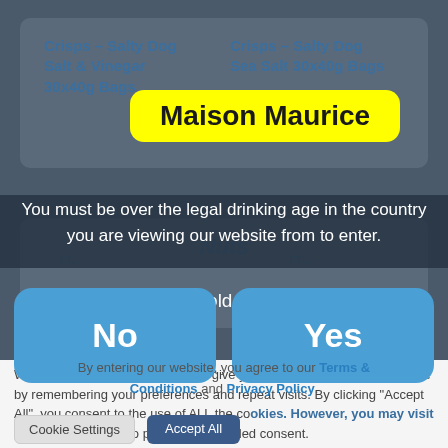[Figure (screenshot): Website screenshot showing age verification modal overlay on Maison Maurice website with cookie consent banner]
Maison Maurice
Crisps – Salty Dog Salt & Vinegar 30x40g Bags
Crisps – Salty Dog Sea Salt 30x40g Bags
You must be over the legal drinking age in the country you are viewing our website from to enter.
Are you old enough?
No
Yes
By entering our website, you agree to our Terms & Conditions and Privacy Policy.
We use cookies on our website to give you the most relevant experience by remembering your preferences and repeat visits. By clicking "Accept All", you consent to the use of ALL the cookies. However, you may visit "Cookie Settings" to provide a controlled consent.
Cookie Settings
Accept All